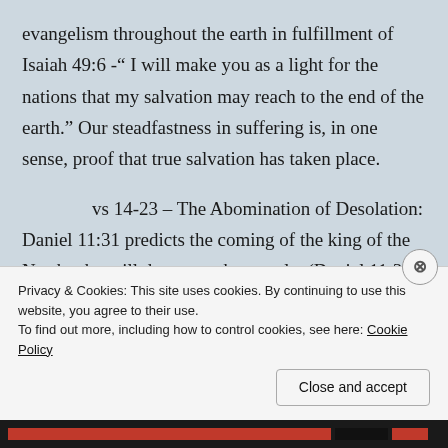evangelism throughout the earth in fulfillment of Isaiah 49:6 -“ I will make you as a light for the nations that my salvation may reach to the end of the earth.”  Our steadfastness in suffering is, in one sense, proof that true salvation has taken place.
vs 14-23 – The Abomination of Desolation: Daniel 11:31 predicts the coming of the king of the North who will desecrate the temple. (Daniel 11:31 – Forces from him shall appear and profane the temple and fortress, and shall take away the regular burnt
Privacy & Cookies: This site uses cookies. By continuing to use this website, you agree to their use.
To find out more, including how to control cookies, see here: Cookie Policy